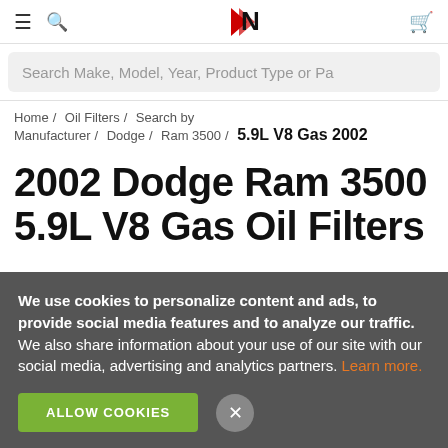N (logo) — navigation header with menu, search, and cart icons
Search Make, Model, Year, Product Type or Pa
Home / Oil Filters / Search by Manufacturer / Dodge / Ram 3500 / 5.9L V8 Gas 2002
2002 Dodge Ram 3500 5.9L V8 Gas Oil Filters
We use cookies to personalize content and ads, to provide social media features and to analyze our traffic. We also share information about your use of our site with our social media, advertising and analytics partners. Learn more.
ALLOW COOKIES  ×